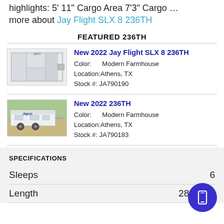highlights: 5' 11" Cargo Area 7'3" Cargo ... more about Jay Flight SLX 8 236TH
FEATURED 236TH
[Figure (photo): Floor plan diagram of Jay Flight SLX 8 236TH]
New 2022 Jay Flight SLX 8 236TH
Color: Modern Farmhouse
Location: Athens, TX
Stock #: JA790190
[Figure (photo): Exterior photo of a white Jayco travel trailer in a parking lot with trees in background]
New 2022 236TH
Color: Modern Farmhouse
Location: Athens, TX
Stock #: JA790183
SPECIFICATIONS
Sleeps    6
Length    28 ft 5 in